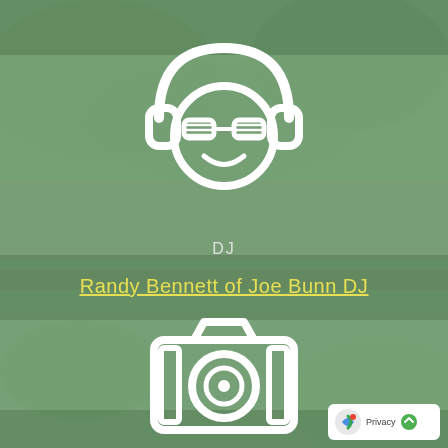[Figure (illustration): DJ icon: a smiling face wearing headphones and sunglasses, white outline style on green background]
DJ
Randy Bennett of Joe Bunn DJ
[Figure (illustration): Camera icon, white outline style on green background]
[Figure (logo): Privacy & Cookies badge in bottom right corner with reCAPTCHA-style icon]